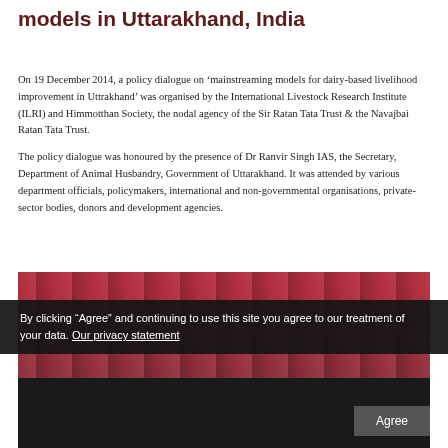models in Uttarakhand, India
On 19 December 2014, a policy dialogue on ‘mainstreaming models for dairy-based livelihood improvement in Uttrakhand’ was organised by the International Livestock Research Institute (ILRI) and Himmotthan Society, the nodal agency of the Sir Ratan Tata Trust & the Navajbai Ratan Tata Trust.
The policy dialogue was honoured by the presence of Dr Ranvir Singh IAS, the Secretary, Department of Animal Husbandry, Government of Uttarakhand. It was attended by various department officials, policymakers, international and non-governmental organisations, private-sector bodies, donors and development agencies.
[Figure (photo): Photograph showing attendees at the policy dialogue event, with red curtains and people seated at a table in the background.]
By clicking “Agree” and continuing to use this site you agree to our treatment of your data. Our privacy statement